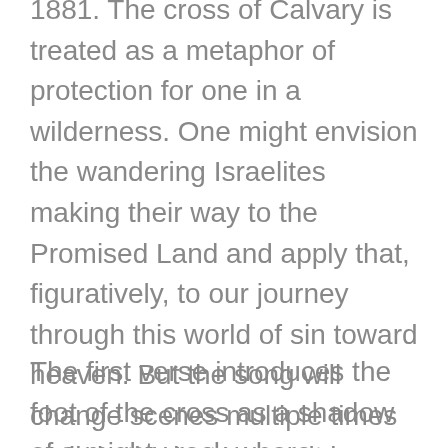1881. The cross of Calvary is treated as a metaphor of protection for one in a wilderness. One might envision the wandering Israelites making their way to the Promised Land and apply that, figuratively, to our journey through this world of sin toward heaven. But the song will change scenes multiple times until, in the last verse, it is a most personal challenge to each of us to be faithful disciples of this crucified Lord.
The first verse introduces the foot of the cross as a shadow of a mighty rock where